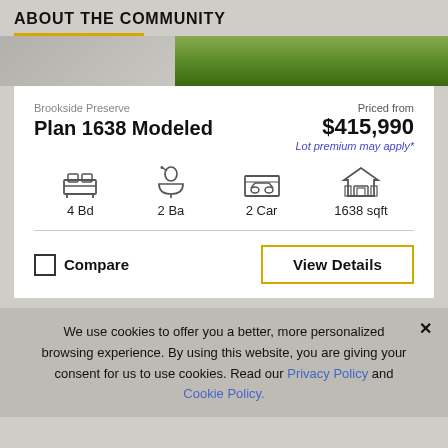ABOUT THE COMMUNITY
[Figure (photo): Exterior photo strip showing green grass and grey pavement/driveway area]
Brookside Preserve
Plan 1638 Modeled
Priced from
$415,990
Lot premium may apply*
4 Bd   2 Ba   2 Car   1638 sqft
Compare
View Details
We use cookies to offer you a better, more personalized browsing experience. By using this website, you are giving your consent for us to use cookies. Read our Privacy Policy and Cookie Policy.